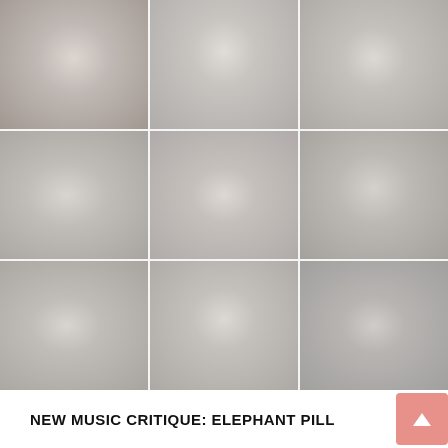[Figure (photo): A 3x3 grid of music-related photos, appearing faded/washed out in pinkish-grey tones, likely album artwork or band photos for Elephant Pill]
NEW MUSIC CRITIQUE: ELEPHANT PILL